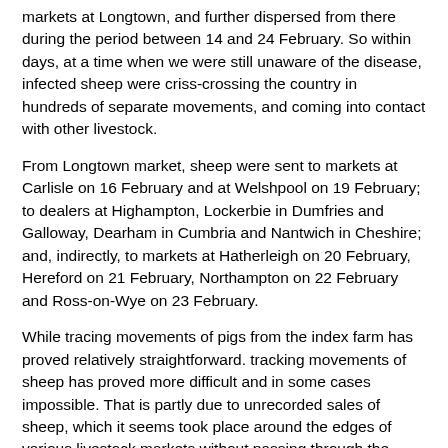markets at Longtown, and further dispersed from there during the period between 14 and 24 February. So within days, at a time when we were still unaware of the disease, infected sheep were criss-crossing the country in hundreds of separate movements, and coming into contact with other livestock.
From Longtown market, sheep were sent to markets at Carlisle on 16 February and at Welshpool on 19 February; to dealers at Highampton, Lockerbie in Dumfries and Galloway, Dearham in Cumbria and Nantwich in Cheshire; and, indirectly, to markets at Hatherleigh on 20 February, Hereford on 21 February, Northampton on 22 February and Ross-on-Wye on 23 February.
While tracing movements of pigs from the index farm has proved relatively straightforward. tracking movements of sheep has proved more difficult and in some cases impossible. That is partly due to unrecorded sales of sheep, which it seems took place around the edges of various livestock markets without passing through the markets' books.
Over the past four weeks, many comparisons have been drawn with the 1967 outbreak. The truth is, however, that the two outbreaks are very different The key differences between this outbreak and that of 1967 are the speed and geographical scale of the spread of infection—which